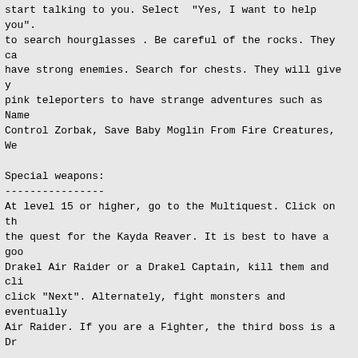start talking to you. Select "Yes, I want to help you". to search hourglasses . Be careful of the rocks. They ca have strong enemies. Search for chests. They will give y pink teleporters to have strange adventures such as Name Control Zorbak, Save Baby Moglin From Fire Creatures, We
Special weapons:
----------------
At level 15 or higher, go to the Multiquest. Click on th the quest for the Kayda Reaver. It is best to have a goo Drakel Air Raider or a Drakel Captain, kill them and cli click "Next". Alternately, fight monsters and eventually Air Raider. If you are a Fighter, the third boss is a Dr
Make your own Fire, Wind, and Water Blade Of Awe:
--------------------------------------------------
You first have to be a Guardian. Look for the pieces of treasure chests. You must do a lot of fighting to get sh Arys'a pet shop and click "Valencia". Visit Valencia, ta Awe". She will make it. Next, go to the guardian tower a His name is Nimrod. Click on the button that reads "Guar Also, make sure you have an extra slot in the armor loca armor and buy the elemental fighter armor. Go into battl Awe and your new armor. When you click attack, a choice choice. Instead of earth element damage, whatever you se damage it will do (for example, fire).